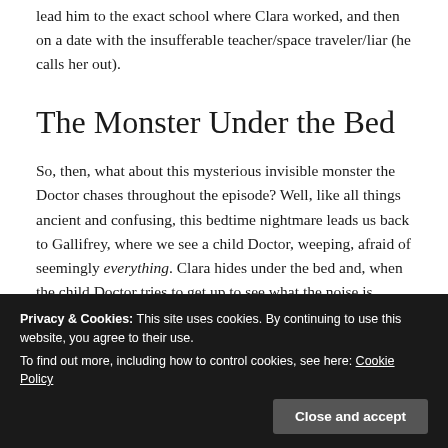lead him to the exact school where Clara worked, and then on a date with the insufferable teacher/space traveler/liar (he calls her out).
The Monster Under the Bed
So, then, what about this mysterious invisible monster the Doctor chases throughout the episode? Well, like all things ancient and confusing, this bedtime nightmare leads us back to Gallifrey, where we see a child Doctor, weeping, afraid of seemingly everything. Clara hides under the bed and, when the child Doctor tries to get up to see what the noise is
terrifying monsters he could not see (the Weeping
Privacy & Cookies: This site uses cookies. By continuing to use this website, you agree to their use.
To find out more, including how to control cookies, see here: Cookie Policy